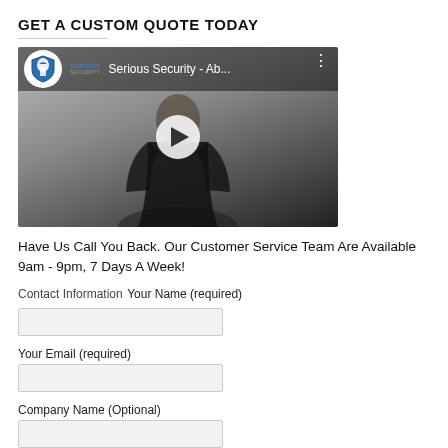GET A CUSTOM QUOTE TODAY
[Figure (screenshot): Video thumbnail for Serious Security - Ab... with play button, logo circle with spartan helmet, and person in black shirt visible]
Have Us Call You Back. Our Customer Service Team Are Available 9am - 9pm, 7 Days A Week!
Contact Information
Your Name (required)
Your Email (required)
Company Name (Optional)